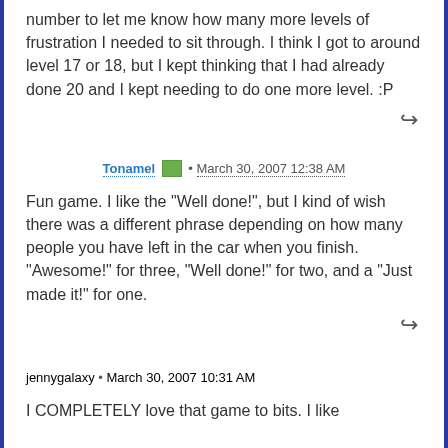number to let me know how many more levels of frustration I needed to sit through. I think I got to around level 17 or 18, but I kept thinking that I had already done 20 and I kept needing to do one more level. :P
Tonamel • March 30, 2007 12:38 AM
Fun game. I like the "Well done!", but I kind of wish there was a different phrase depending on how many people you have left in the car when you finish. "Awesome!" for three, "Well done!" for two, and a "Just made it!" for one.
jennygalaxy • March 30, 2007 10:31 AM
I COMPLETELY love that game to bits. I like